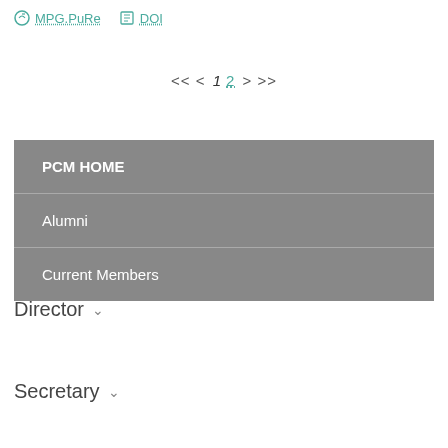MPG.PuRe  DOI
<< < 1 2 > >>
PCM HOME
Alumni
Current Members
Director
Secretary